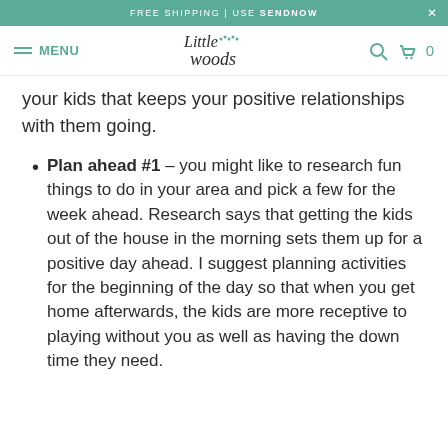FREE SHIPPING | USE SENDNOW  X
MENU  Little Woods  [search] [cart] 0
your kids that keeps your positive relationships with them going.
Plan ahead #1 – you might like to research fun things to do in your area and pick a few for the week ahead. Research says that getting the kids out of the house in the morning sets them up for a positive day ahead. I suggest planning activities for the beginning of the day so that when you get home afterwards, the kids are more receptive to playing without you as well as having the down time they need.